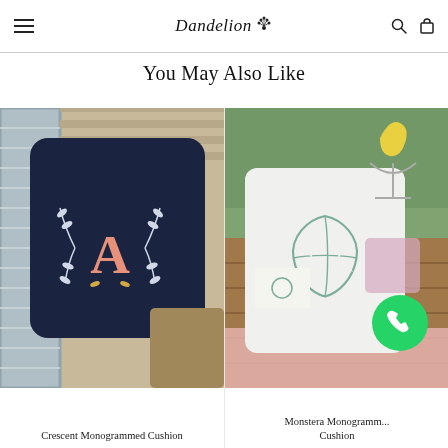Dandelion (logo with menu and icons)
You May Also Like
[Figure (photo): Navy blue monogrammed cushion with letter A and white leaf/crescent embroidery, placed on a grey striped blanket over a wicker/rattan background]
Crescent Monogrammed Cushion
[Figure (photo): White cushion with Monstera leaf monogram design, placed on a wooden surface outdoors with a yellow bird in a martini glass decoration visible; WhatsApp chat bubble overlay in bottom right]
Monstera Monogramm... Cushion